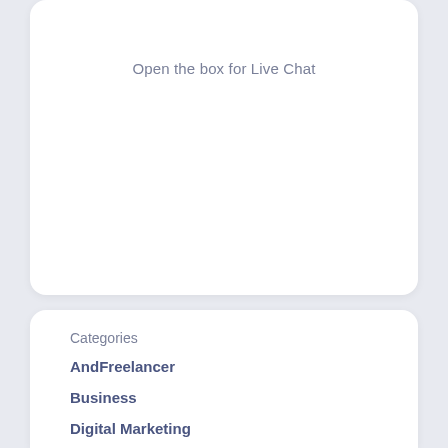Open the box for Live Chat
Categories
AndFreelancer
Business
Digital Marketing
Fashion
Food